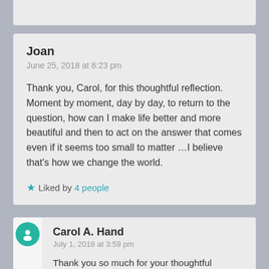(partial top comment card)
Joan
June 25, 2018 at 8:23 pm
Thank you, Carol, for this thoughtful reflection. Moment by moment, day by day, to return to the question, how can I make life better and more beautiful and then to act on the answer that comes even if it seems too small to matter …I believe that's how we change the world.
Liked by 4 people
Carol A. Hand
July 1, 2018 at 3:59 pm
Thank you so much for your thoughtful comments, Joan, and for sharing such wise